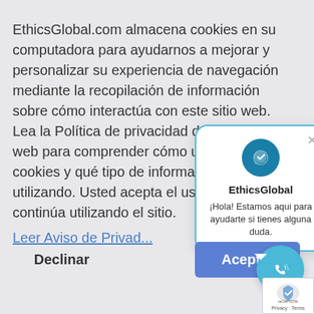EthicsGlobal.com almacena cookies en su computadora para ayudarnos a mejorar y personalizar su experiencia de navegación mediante la recopilación de información sobre cómo interactúa con este sitio web. Lea la Política de privacidad de este sitio web para comprender cómo utilizamos las cookies y qué tipo de información estamos utilizando. Usted acepta el uso de cookies si continúa utilizando el sitio.
Leer Aviso de Privad...
[Figure (screenshot): Chat popup widget from EthicsGlobal showing logo icon, title 'EthicsGlobal', and message '¡Hola! Estamos aqui para ayudarte si tienes alguna duda.' with a close X button and teal border.]
Declinar
Aceptar